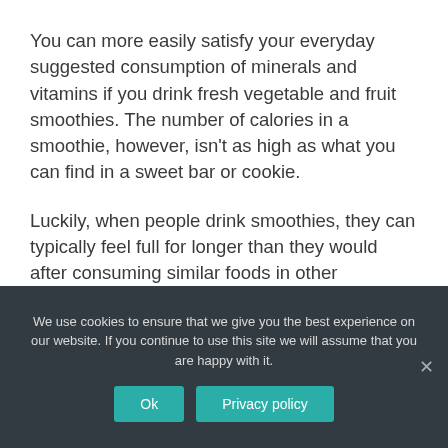You can more easily satisfy your everyday suggested consumption of minerals and vitamins if you drink fresh vegetable and fruit smoothies. The number of calories in a smoothie, however, isn't as high as what you can find in a sweet bar or cookie.
Luckily, when people drink smoothies, they can typically feel full for longer than they would after consuming similar foods in other methods.
We use cookies to ensure that we give you the best experience on our website. If you continue to use this site we will assume that you are happy with it.